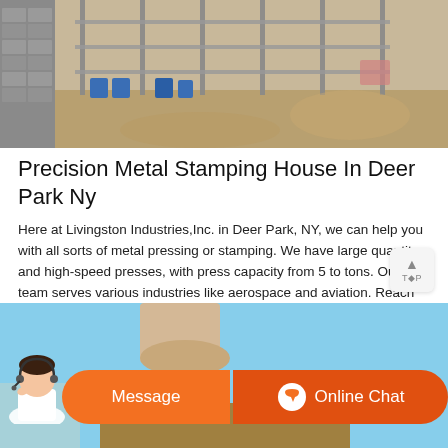[Figure (photo): Outdoor industrial/construction site with metal scaffolding poles and blue barrels, sandy ground, block wall on left side]
Precision Metal Stamping House In Deer Park Ny
Here at Livingston Industries,Inc. in Deer Park, NY, we can help you with all sorts of metal pressing or stamping. We have large quantity and high-speed presses, with press capacity from 5 to tons. Our team serves various industries like aerospace and aviation. Reach out to us today.
[Figure (photo): Large industrial machinery or structure outdoors against a blue sky, with a customer service chat bar overlay at the bottom showing Message and Online Chat buttons]